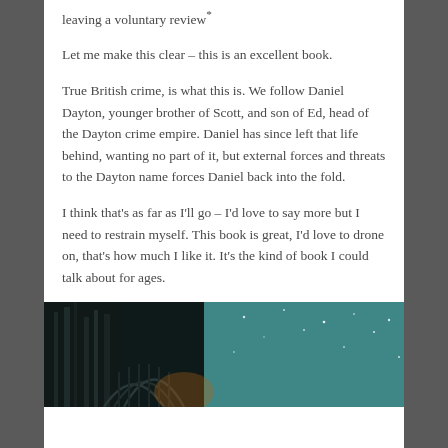leaving a voluntary review*
Let me make this clear – this is an excellent book.
True British crime, is what this is. We follow Daniel Dayton, younger brother of Scott, and son of Ed, head of the Dayton crime empire. Daniel has since left that life behind, wanting no part of it, but external forces and threats to the Dayton name forces Daniel back into the fold.
I think that's as far as I'll go – I'd love to say more but I need to restrain myself. This book is great, I'd love to drone on, that's how much I like it. It's the kind of book I could talk about for ages.
[Figure (photo): Dark photograph of an old ornate building with iron railings and a starry teal sky in the background — appears to be a book cover image.]